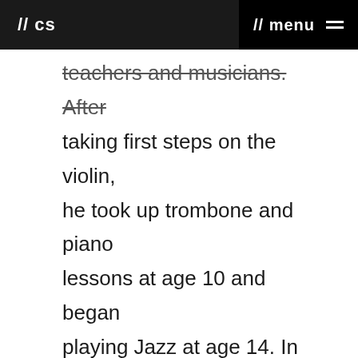// cs  // menu
teachers and musicians. After taking first steps on the violin, he took up trombone and piano lessons at age 10 and began playing Jazz at age 14. In 1988, he was accepted as a student of Professor Branimir Slokar at Berne Conservatory and was appointed principal trombone with the Swiss Youth Symphony.